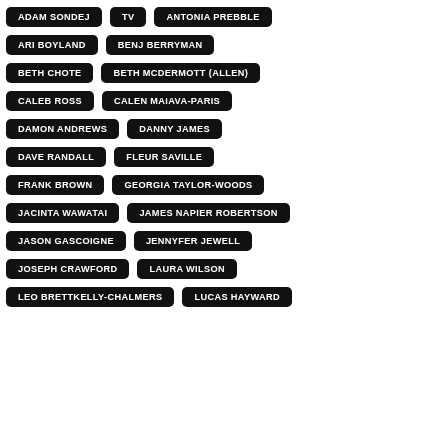ADAM SONDEJ
TV
ANTONIA PREBBLE
ARI BOYLAND
BENJ BERRYMAN
BETH CHOTE
BETH MCDERMOTT (ALLEN)
CALEB ROSS
CALEN MAIAVA-PARIS
DAMON ANDREWS
DANNY JAMES
DAVE RANDALL
FLEUR SAVILLE
FRANK BROWN
GEORGIA TAYLOR-WOODS
JACINTA WAWATAI
JAMES NAPIER ROBERTSON
JASON GASCOIGNE
JENNYFER JEWELL
JOSEPH CRAWFORD
LAURA WILSON
LEO BRETTKELLY-CHALMERS
LUCAS HAYWARD